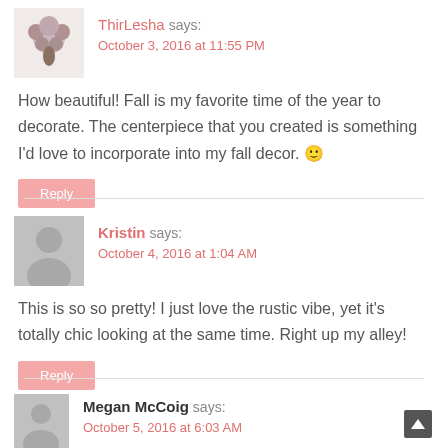[Figure (illustration): Floral avatar icon for ThirLesha]
ThirLesha says:
October 3, 2016 at 11:55 PM
How beautiful! Fall is my favorite time of the year to decorate. The centerpiece that you created is something I'd love to incorporate into my fall decor. 🙂
Reply
[Figure (illustration): Generic user avatar silhouette for Kristin]
Kristin says:
October 4, 2016 at 1:04 AM
This is so so pretty! I just love the rustic vibe, yet it's totally chic looking at the same time. Right up my alley!
Reply
[Figure (illustration): Generic user avatar silhouette for Megan McCoig]
Megan McCoig says:
October 5, 2016 at 6:03 AM